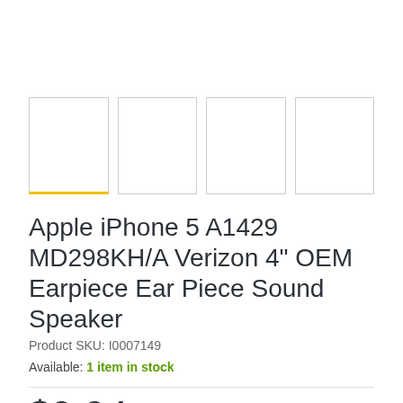[Figure (photo): Four product image thumbnail placeholders, the first one highlighted with a yellow bottom border]
Apple iPhone 5 A1429 MD298KH/A Verizon 4" OEM Earpiece Ear Piece Sound Speaker
Product SKU: I0007149
Available: 1 item in stock
$9.94